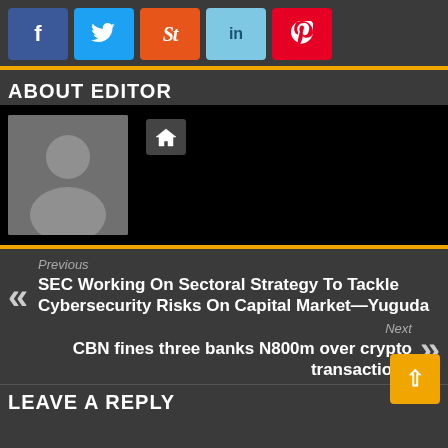[Figure (other): Social sharing buttons: Facebook (blue), Twitter (light blue), StumbleUpon (orange), LinkedIn (light blue), Pinterest (red)]
ABOUT EDITOR
[Figure (photo): Default avatar silhouette image with a home icon button to the right, on black background]
Previous
SEC Working On Sectoral Strategy To Tackle Cybersecurity Risks On Capital Market—Yuguda
Next
CBN fines three banks N800m over crypto transactions
LEAVE A REPLY